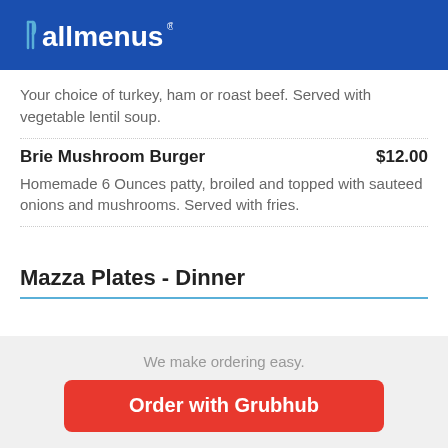allmenus
Your choice of turkey, ham or roast beef. Served with vegetable lentil soup.
Brie Mushroom Burger $12.00
Homemade 6 Ounces patty, broiled and topped with sauteed onions and mushrooms. Served with fries.
Mazza Plates - Dinner
We make ordering easy.
Order with Grubhub